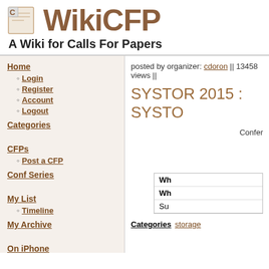WikiCFP – A Wiki for Calls For Papers
posted by organizer: cdoron || 13458 views ||
SYSTOR 2015 : SYSTO
Confer
Home
Login
Register
Account
Logout
Categories
CFPs
Post a CFP
Conf Series
My List
Timeline
My Archive
On iPhone
On Android
Categories storage